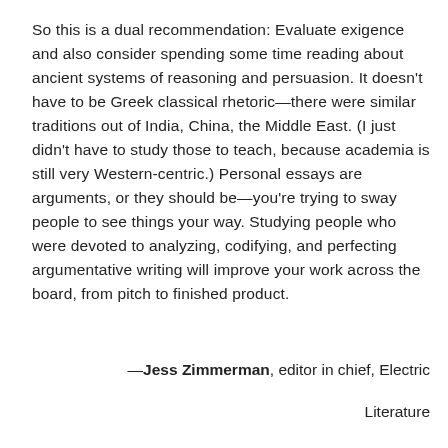So this is a dual recommendation: Evaluate exigence and also consider spending some time reading about ancient systems of reasoning and persuasion. It doesn't have to be Greek classical rhetoric—there were similar traditions out of India, China, the Middle East. (I just didn't have to study those to teach, because academia is still very Western-centric.) Personal essays are arguments, or they should be—you're trying to sway people to see things your way. Studying people who were devoted to analyzing, codifying, and perfecting argumentative writing will improve your work across the board, from pitch to finished product.
—Jess Zimmerman, editor in chief, Electric Literature